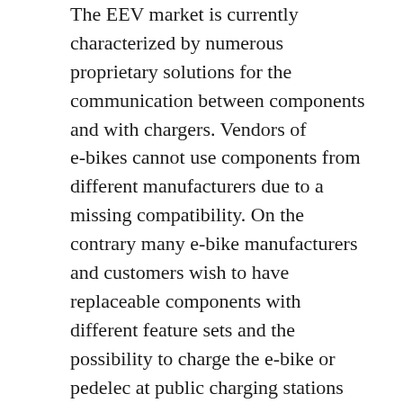The EEV market is currently characterized by numerous proprietary solutions for the communication between components and with chargers. Vendors of e-bikes cannot use components from different manufacturers due to a missing compatibility. On the contrary many e-bike manufacturers and customers wish to have replaceable components with different feature sets and the possibility to charge the e-bike or pedelec at public charging stations without the need to bring an own charger.
The EnergyBus e.V. association with currently around 70 member companies has dedicated itself to these targets. The objective of the association is to develop and to promote the EnergyBus standard. First successful results